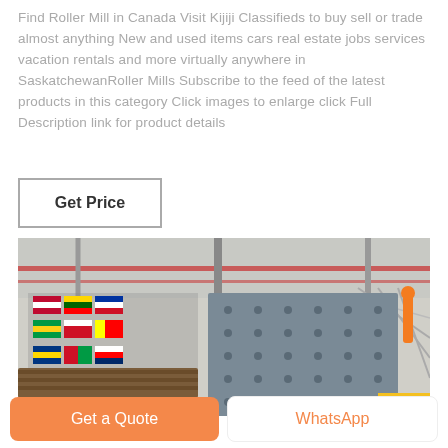Find Roller Mill in Canada Visit Kijiji Classifieds to buy sell or trade almost anything New and used items cars real estate jobs services vacation rentals and more virtually anywhere in SaskatchewanRoller Mills Subscribe to the feed of the latest products in this category Click images to enlarge click Full Description link for product details
Get Price
[Figure (photo): Industrial roller mill machine inside a large factory/exhibition hall with international flags hanging on the left side and a large gray panel machine in the center.]
Get a Quote
WhatsApp